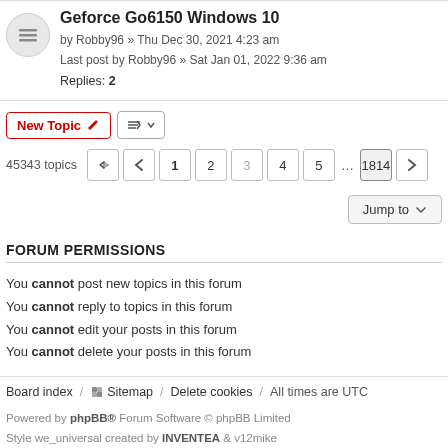Geforce Go6150 Windows 10
by Robby96 » Thu Dec 30, 2021 4:23 am
Last post by Robby96 » Sat Jan 01, 2022 9:36 am
Replies: 2
New Topic  [sort]  45343 topics  < 1 2 3 4 5 ... 1814 >
Jump to
FORUM PERMISSIONS
You cannot post new topics in this forum
You cannot reply to topics in this forum
You cannot edit your posts in this forum
You cannot delete your posts in this forum
Board index / Sitemap / Delete cookies / All times are UTC
Powered by phpBB® Forum Software © phpBB Limited
Style we_universal created by INVENTEA & v12mike